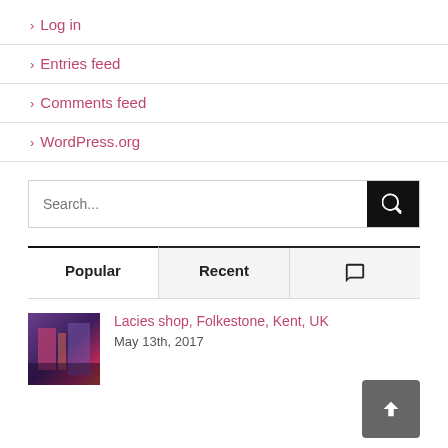> Log in
> Entries feed
> Comments feed
> WordPress.org
[Figure (screenshot): Search bar with text input placeholder 'Search...' and a black search button with magnifying glass icon]
Popular | Recent | Comments
Lacies shop, Folkestone, Kent, UK
May 13th, 2017